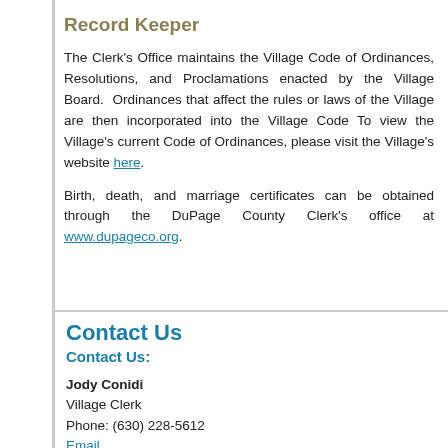Record Keeper
The Clerk's Office maintains the Village Code of Ordinances, Resolutions, and Proclamations enacted by the Village Board. Ordinances that affect the rules or laws of the Village are then incorporated into the Village Code To view the Village's current Code of Ordinances, please visit the Village's website here.
Birth, death, and marriage certificates can be obtained through the DuPage County Clerk's office at www.dupageco.org.
Contact Us
Contact Us:
Jody Conidi
Village Clerk
Phone: (630) 228-5612
Email